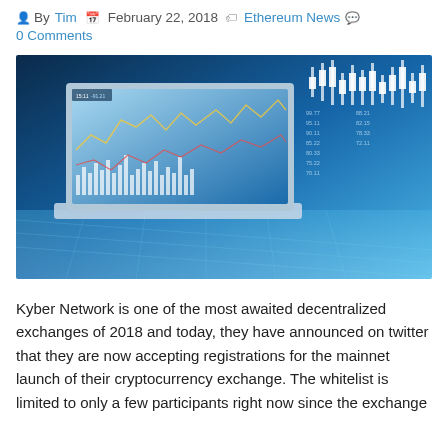By Tim  February 22, 2018  Ethereum News  0 Comments
[Figure (photo): Promotional image for Kyber Network showing a laptop with cryptocurrency trading charts (candlesticks, line charts, bar charts) on screen and in the background, with the Kyber Network green gem logo and 'kyber. network' text on the right side.]
Kyber Network is one of the most awaited decentralized exchanges of 2018 and today, they have announced on twitter that they are now accepting registrations for the mainnet launch of their cryptocurrency exchange. The whitelist is limited to only a few participants right now since the exchange